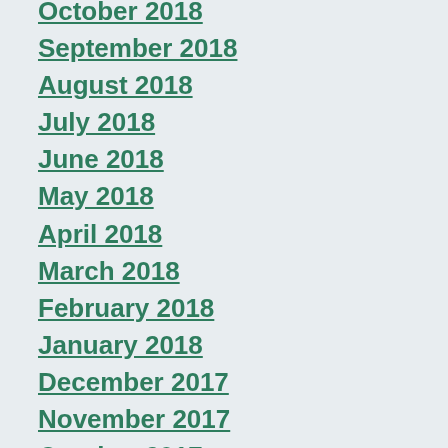October 2018
September 2018
August 2018
July 2018
June 2018
May 2018
April 2018
March 2018
February 2018
January 2018
December 2017
November 2017
October 2017
September 2017
July 2017
May 2017
April 2017
March 2017